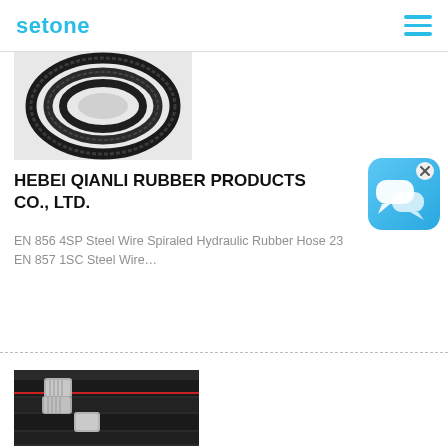setone
[Figure (photo): Coiled black rubber hydraulic hose viewed from above]
HEBEI QIANLI RUBBER PRODUCTS CO., LTD.
EN 856 4SP Steel Wire Spiraled Hydraulic Rubber Hose 23 EN 857 1SC Steel Wire…
[Figure (photo): Chat bubble / messaging app icon with blue gradient background and X close button]
[Figure (photo): Multiple black hydraulic hoses with metal fittings/couplings, close-up view]